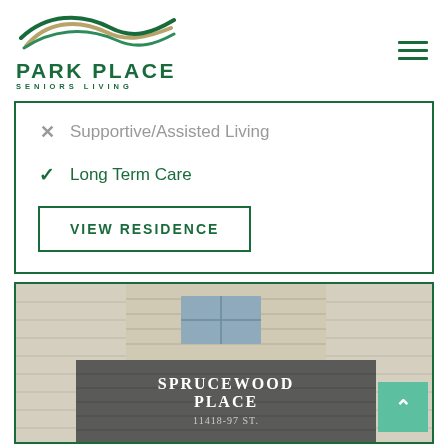[Figure (logo): Park Place Seniors Living logo with wave graphic in green and tan, text PARK PLACE SENIORS LIVING in dark green]
✗ Supportive/Assisted Living
✓ Long Term Care
VIEW RESIDENCE
[Figure (photo): Photo of Sprucewood Place building exterior showing brick facade with sign reading SPRUCEWOOD PLACE 11418-97 ST.]